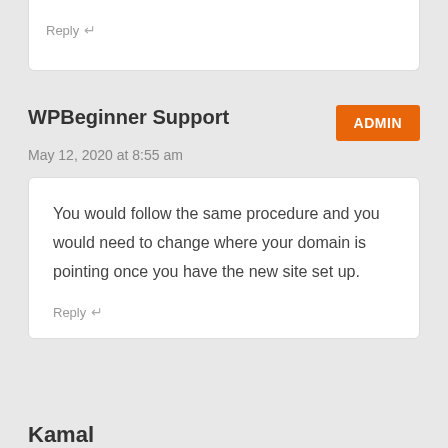Reply ↵
WPBeginner Support
ADMIN
May 12, 2020 at 8:55 am
You would follow the same procedure and you would need to change where your domain is pointing once you have the new site set up.
Reply ↵
Kamal